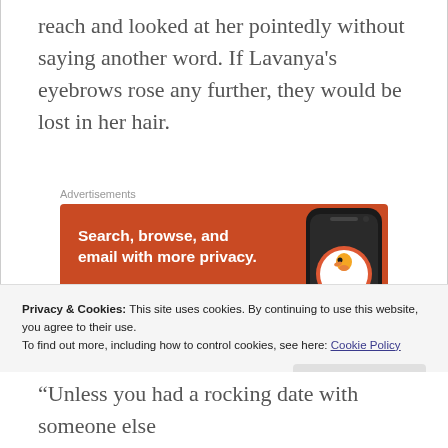reach and looked at her pointedly without saying another word. If Lavanya's eyebrows rose any further, they would be lost in her hair.
[Figure (screenshot): DuckDuckGo advertisement banner showing orange background with white text 'Search, browse, and email with more privacy.' and a smartphone with DuckDuckGo duck logo]
Privacy & Cookies: This site uses cookies. By continuing to use this website, you agree to their use. To find out more, including how to control cookies, see here: Cookie Policy
“Unless you had a rocking date with someone else